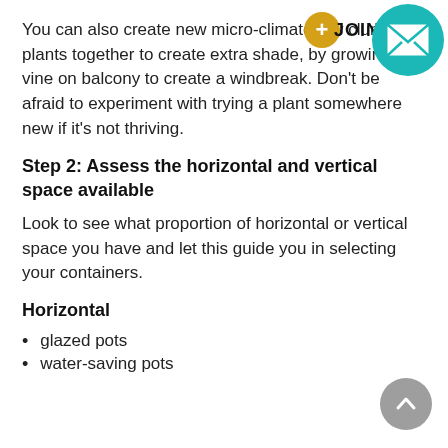You can also create new micro-climates by clumping plants together to create extra shade, by growing a vine on balcony to create a windbreak. Don't be afraid to experiment with trying a plant somewhere new if it's not thriving.
Step 2: Assess the horizontal and vertical space available
Look to see what proportion of horizontal or vertical space you have and let this guide you in selecting your containers.
Horizontal
glazed pots
water-saving pots